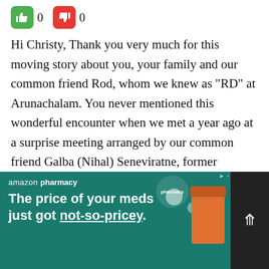[Figure (other): Thumbs up (green) and thumbs down (red) vote buttons, each showing count 0]
Hi Christy, Thank you very much for this moving story about you, your family and our common friend Rod, whom we knew as “RD” at Arunachalam. You never mentioned this wonderful encounter when we met a year ago at a surprise meeting arranged by our common friend Galba (Nihal) Seneviratne, former Secretary-General of Parliament. While your experience with Rod is very special, we also had good times at Peradeniya with special bonds among those of us at Arunachalam, a…
[Figure (screenshot): Amazon Pharmacy advertisement banner with teal background. Text: 'amazon pharmacy' and 'The price of your meds just got not-so-pricey.' with pill bottle imagery.]